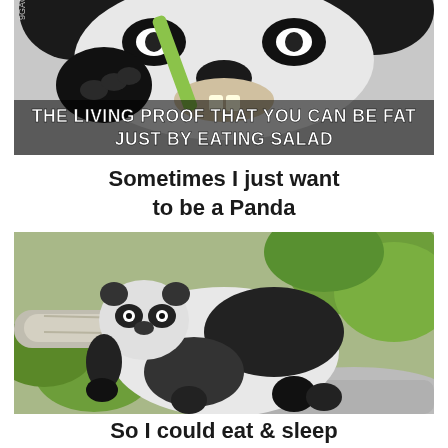[Figure (photo): Close-up photo of a giant panda eating bamboo. Overlaid text reads: 'THE LIVING PROOF THAT YOU CAN BE FAT JUST BY EATING SALAD'. Watermark '9GAG.COM' visible on left side.]
Sometimes I just want to be a Panda
[Figure (photo): Photo of a giant panda draped lazily over a tree branch, appearing to be sleeping or resting.]
So I could eat & sleep